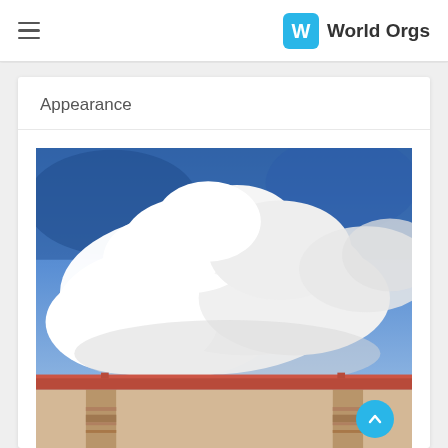World Orgs
Appearance
[Figure (photo): A photograph showing a building facade with tan/beige stucco walls, red/terracotta trim at the roofline, and stone pillar accents at the base. The upper portion of the image shows a blue sky with large white cumulus clouds.]